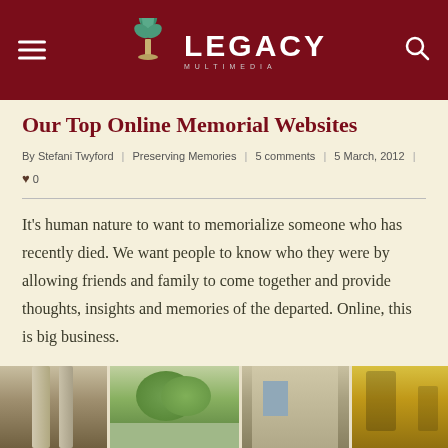Legacy Multimedia
Our Top Online Memorial Websites
By Stefani Twyford | Preserving Memories | 5 comments | 5 March, 2012 | 0
It's human nature to want to memorialize someone who has recently died. We want people to know who they were by allowing friends and family to come together and provide thoughts, insights and memories of the departed. Online, this is big business.
[Figure (photo): Bottom image strip showing three outdoor/urban scene panels]